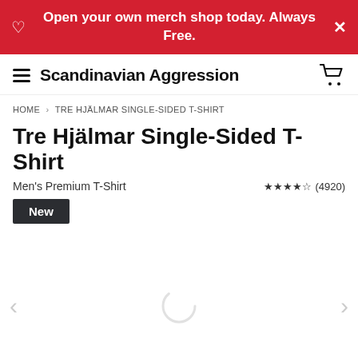Open your own merch shop today. Always Free.
Scandinavian Aggression
HOME > TRE HJÄLMAR SINGLE-SIDED T-SHIRT
Tre Hjälmar Single-Sided T-Shirt
Men's Premium T-Shirt
★★★★½ (4920)
New
[Figure (other): Loading spinner in the image area, with left and right navigation arrows]